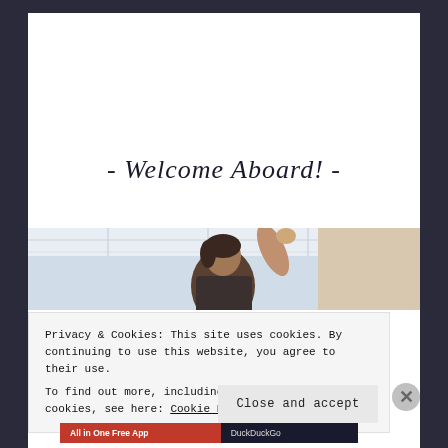- Welcome Aboard! -
[Figure (photo): A photo strip showing a person with brown hair waving, airport or transit setting, bright overhead lighting]
Privacy & Cookies: This site uses cookies. By continuing to use this website, you agree to their use.
To find out more, including how to control cookies, see here: Cookie Policy
Close and accept
[Figure (screenshot): Ad bar at bottom: red section 'All in One Free App', dark section 'DuckDuckGo']